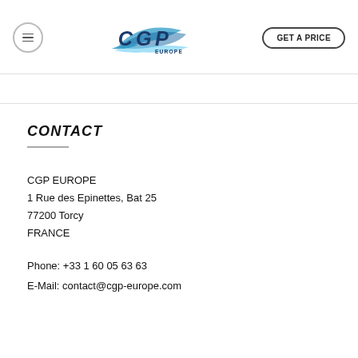[Figure (logo): CGP Europe company logo with stylized blue swoosh and text]
CONTACT
CGP EUROPE
1 Rue des Epinettes, Bat 25
77200 Torcy
FRANCE
Phone: +33 1 60 05 63 63
E-Mail: contact@cgp-europe.com